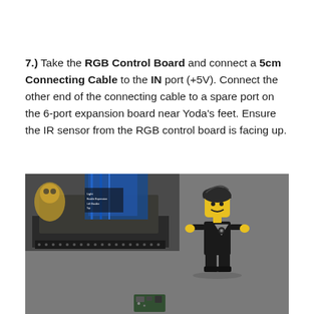7.) Take the RGB Control Board and connect a 5cm Connecting Cable to the IN port (+5V). Connect the other end of the connecting cable to a spare port on the 6-port expansion board near Yoda's feet. Ensure the IR sensor from the RGB control board is facing up.
[Figure (photo): Photograph of a LEGO build showing an electronic board with blue wires and labels on the left, and a LEGO minifigure dressed in black on the right, with a small circuit board visible in the foreground on a grey surface.]